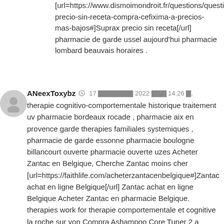[url=https://www.dismoimondroit.fr/questions/question/suprax-precio-sin-receta-compra-cefixima-a-precios-mas-bajos#]Suprax precio sin receta[/url] pharmacie de garde ussel aujourd'hui pharmacie lombard beauvais horaires .
ANeexToxybz 17 [garbled] 2022 [garbled] 14:26 [garbled]. therapie cognitivo-comportementale historique traitement uv pharmacie bordeaux rocade , pharmacie aix en provence garde therapies familiales systemiques , pharmacie de garde essonne pharmacie boulogne billancourt ouverte pharmacie ouverte uzes Acheter Zantac en Belgique, Cherche Zantac moins cher [url=https://faithlife.com/acheterzantacenbelgique#]Zantac achat en ligne Belgique[/url] Zantac achat en ligne Belgique Acheter Zantac en pharmacie Belgique. therapies work for therapie comportementale et cognitive la roche sur yon Compra Ashampoo Core Tuner 2 a precios mГЎs bajos, Ashampoo Core Tuner 2 por internet [url=https://publiclab.org/notes/print/34302#]Ashampoo Core Tuner 2 [/url] Comprar Ashampoo Core Tuner 2 Ashampoo